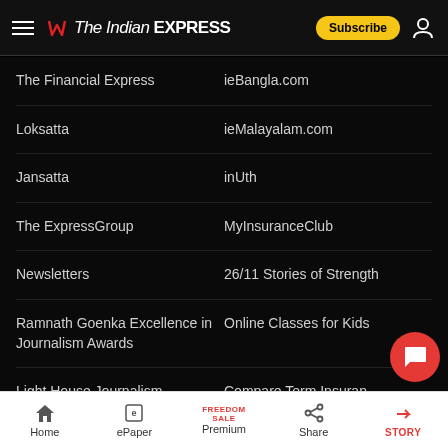The Indian EXPRESS — Subscribe
The Financial Express
ieBangla.com
Loksatta
ieMalayalam.com
Jansatta
inUth
The ExpressGroup
MyInsuranceClub
Newsletters
26/11 Stories of Strength
Ramnath Goenka Excellence in Journalism Awards
Online Classes for Kids
Light House Journalism
Compare Term Insuran…
Home | ePaper | Premium | Share | STORY